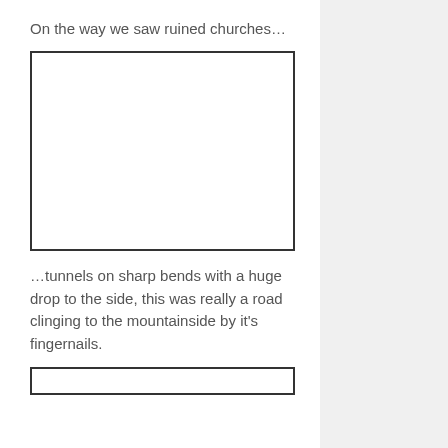On the way we saw ruined churches…
[Figure (photo): Empty white rectangle representing a photograph placeholder]
…tunnels on sharp bends with a huge drop to the side, this was really a road clinging to the mountainside by it's fingernails.
[Figure (photo): Empty white rectangle representing another photograph placeholder (partially visible at bottom)]